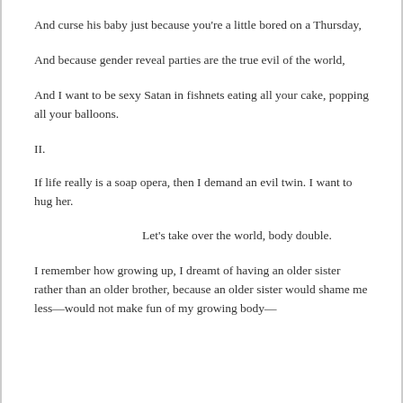And curse his baby just because you're a little bored on a Thursday,
And because gender reveal parties are the true evil of the world,
And I want to be sexy Satan in fishnets eating all your cake, popping all your balloons.
II.
If life really is a soap opera, then I demand an evil twin. I want to hug her.
Let's take over the world, body double.
I remember how growing up, I dreamt of having an older sister rather than an older brother, because an older sister would shame me less—would not make fun of my growing body—